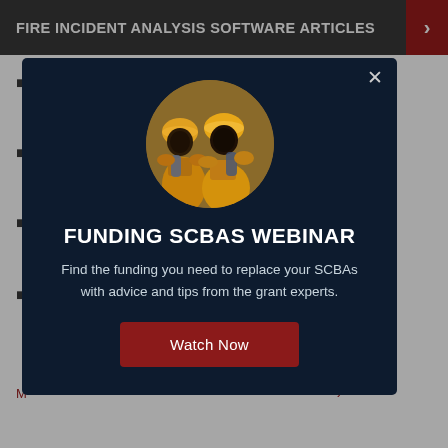FIRE INCIDENT ANALYSIS SOFTWARE ARTICLES
ents
gement
e to
ssisting
M…
[Figure (photo): Circular photo of two firefighters in full gear with SCBAs]
FUNDING SCBAS WEBINAR
Find the funding you need to replace your SCBAs with advice and tips from the grant experts.
Watch Now